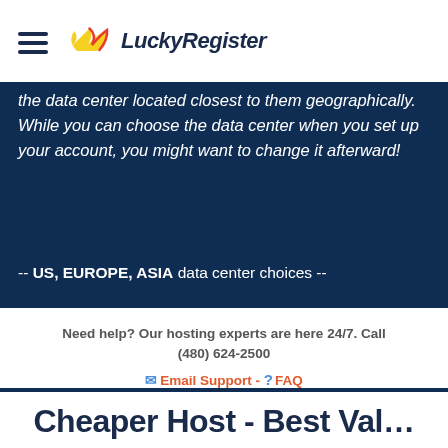LuckyRegister
the data center located closest to them geographically. While you can choose the data center when you set up your account, you might want to change it afterward!
-- US, EUROPE, ASIA data center choices --
Need help? Our hosting experts are here 24/7. Call (480) 624-2500
Email Support - FAQ
Cheaper Host - Best Value